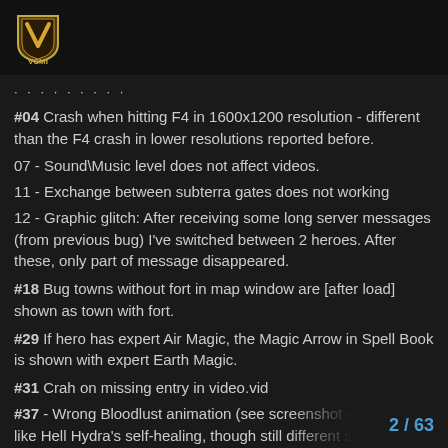VCMI
#04 Crash when hitting F4 in 1600x1200 resolution - different than the F4 crash in lower resolutions reported before.
07 - Sound\Music level does not affect videos.
11 - Exchange between subterra gates does not working
12 - Graphic glitch: After receiving some long server messages (from previous bug) I've switched between 2 heroes. After these, only part of message disappeared.
#18 Bug towns without fort in map window are [after load] shown as town with fort.
#29 If hero has expert Air Magic, the Magic Arrow in Spell Book is shown with expert Earth Magic.
#31 Crah on missing entry in video.vid
#37 - Wrong Bloodlust animation (see screenshot - looks a bit like Hell Hydra's self-healing, though still different somehow)
#48 - Monsters shadow isn't drown where there is shadow+selection color
#54 - Start a map with Castle town and all buildings including the Grail. Right-click some buildin while the message is shown move the ma
2 / 63